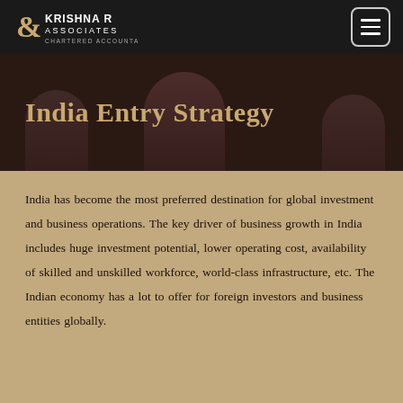[Figure (logo): Krishna R & Associates Chartered Accountants logo — ampersand and text in white on dark background]
India Entry Strategy
India has become the most preferred destination for global investment and business operations. The key driver of business growth in India includes huge investment potential, lower operating cost, availability of skilled and unskilled workforce, world-class infrastructure, etc. The Indian economy has a lot to offer for foreign investors and business entities globally.